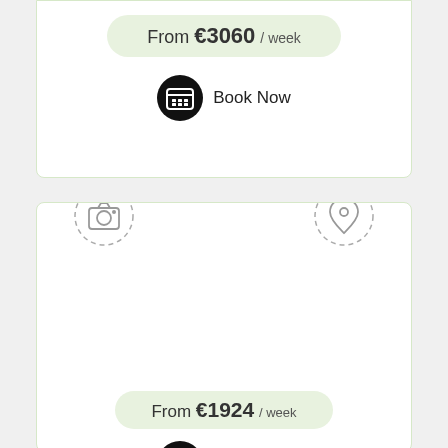From €3060 / week
Book Now
[Figure (illustration): Camera icon in dashed circle]
[Figure (illustration): Location pin icon in dashed circle]
Appartement calme aux portes
From €1924 / week
Book Now